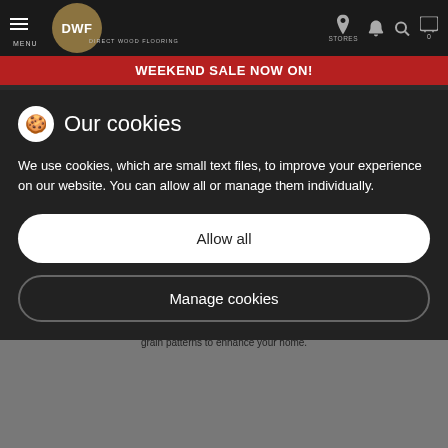[Figure (screenshot): DWF Direct Wood Flooring website header with logo, menu icon, stores icon, phone, search, and cart icons on dark background]
WEEKEND SALE NOW ON!
Ends in 1 day, 19 hours, 36 minutes, 28 seconds
consistency to give a highly desirable combination of the two
Our cookies
We use cookies, which are small text files, to improve your experience on our website. You can allow all or manage them individually.
Allow all
Manage cookies
Sustainably sourced from:
Bosnia-Herzegovina
EUROPEAN OAK
Deluxe Frosted Oak is of the highest quality European Oak and offers beautifully distinctive grain patterns to enhance your home.